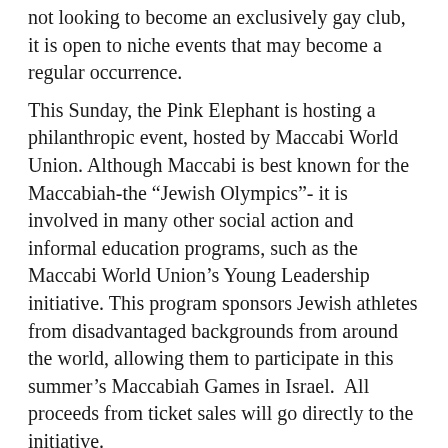not looking to become an exclusively gay club, it is open to niche events that may become a regular occurrence. This Sunday, the Pink Elephant is hosting a philanthropic event, hosted by Maccabi World Union. Although Maccabi is best known for the Maccabiah-the “Jewish Olympics”- it is involved in many other social action and informal education programs, such as the Maccabi World Union’s Young Leadership initiative. This program sponsors Jewish athletes from disadvantaged backgrounds from around the world, allowing them to participate in this summer’s Maccabiah Games in Israel.  All proceeds from ticket sales will go directly to the initiative.
So put on your party dress and strap on your high heeled shoes, it’s time to go dancing at the Pink Elephant.
For more information about the Ladies’ Party:
http://www.facebook.com/event.php?eid=109875158781&ref=ts#/event.php?eid=109875158781